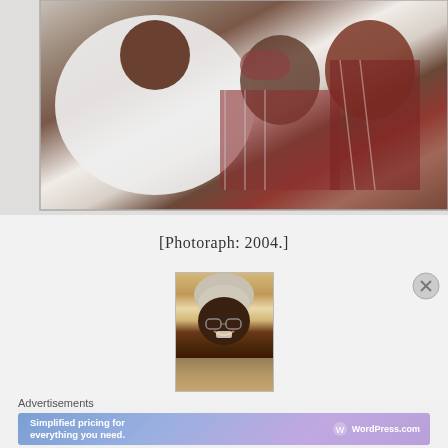[Figure (photo): Family photograph showing adults and a child in traditional West African attire, one person in white garment, others in dark red/maroon patterned fabric. Date 2004.]
[Photoraph: 2004.]
[Figure (photo): Small portrait photograph of an elderly person smiling, wearing a white head covering and glasses, against a light background.]
Advertisements
[Figure (screenshot): WordPress.com advertisement banner: 'Simplified pricing for everything you need.' with WordPress.com logo on purple/blue gradient background.]